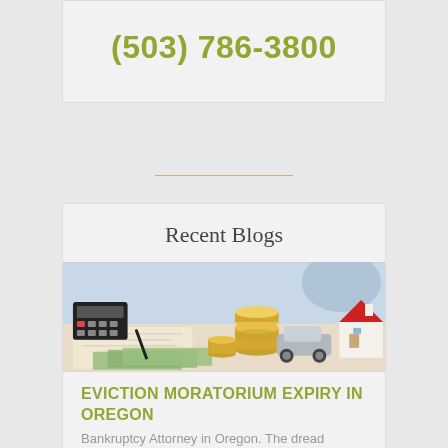(503) 786-3800
Recent Blogs
[Figure (photo): Photo showing a calculator, coins stacked, model car, model house with red roof, and paper money on a desk — financial/bankruptcy themed image]
EVICTION MORATORIUM EXPIRY IN OREGON
Bankruptcy Attorney in Oregon. The dread